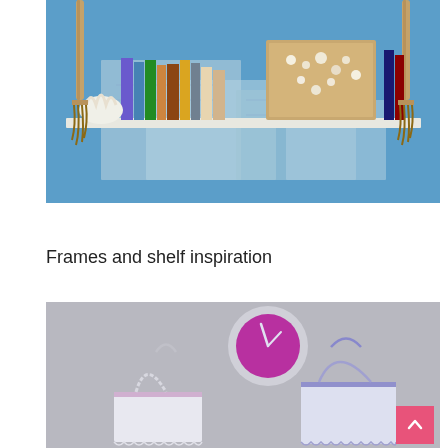[Figure (photo): A hanging rope shelf mounted on a wall covered with vintage maps. The shelf holds books, coral, shells, and a framed shell artwork. Rope tassels hang at each corner.]
source
Frames and shelf inspiration
[Figure (photo): A gray wall with decorative items: a round clock with magenta face, and two decorative hanging bags with lace/beaded trim in white and purple patterns.]